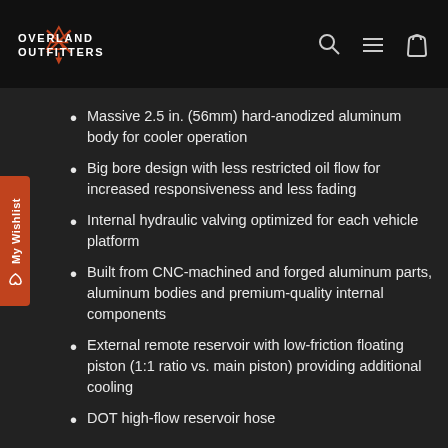OVERLAND OUTFITTERS
Massive 2.5 in. (56mm) hard-anodized aluminum body for cooler operation
Big bore design with less restricted oil flow for increased responsiveness and less fading
Internal hydraulic valving optimized for each vehicle platform
Built from CNC-machined and forged aluminum parts, aluminum bodies and premium-quality internal components
External remote reservoir with low-friction floating piston (1:1 ratio vs. main piston) providing additional cooling
DOT high-flow reservoir hose